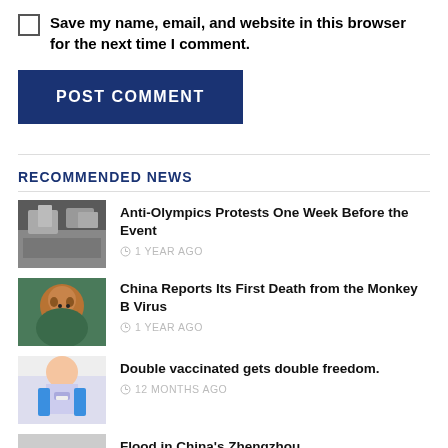Save my name, email, and website in this browser for the next time I comment.
POST COMMENT
RECOMMENDED NEWS
[Figure (photo): Protest crowd photo]
Anti-Olympics Protests One Week Before the Event
1 YEAR AGO
[Figure (photo): Monkey/animal photo]
China Reports Its First Death from the Monkey B Virus
1 YEAR AGO
[Figure (photo): Person in mask with syringe]
Double vaccinated gets double freedom.
12 MONTHS AGO
[Figure (photo): Flood in city photo]
Flood in China's Zhengzhou